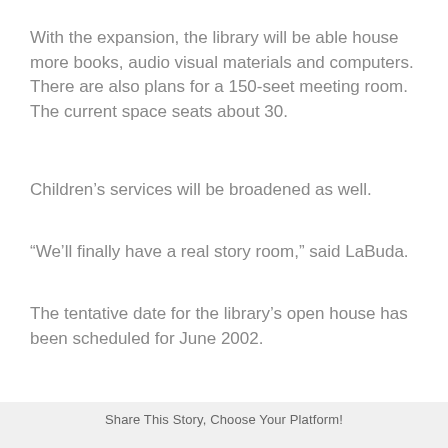With the expansion, the library will be able house more books, audio visual materials and computers. There are also plans for a 150-seet meeting room. The current space seats about 30.
Children’s services will be broadened as well.
“We’ll finally have a real story room,” said LaBuda.
The tentative date for the library’s open house has been scheduled for June 2002.
Share This Story, Choose Your Platform!